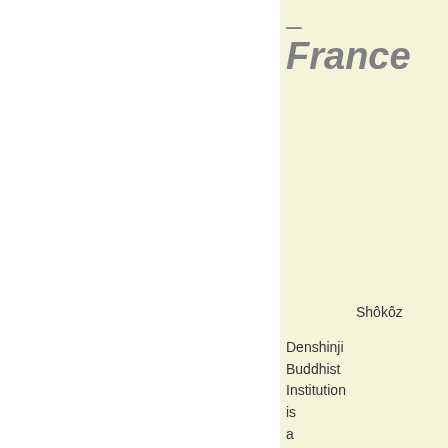– France
Shôkôz Denshinji Buddhist Institution is a Buddhist Temple and a religious community in the Soto Zen